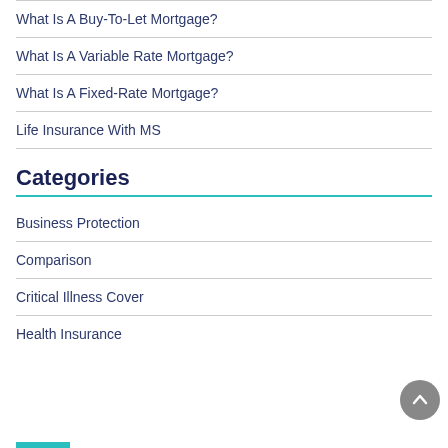What Is A Buy-To-Let Mortgage?
What Is A Variable Rate Mortgage?
What Is A Fixed-Rate Mortgage?
Life Insurance With MS
Categories
Business Protection
Comparison
Critical Illness Cover
Health Insurance